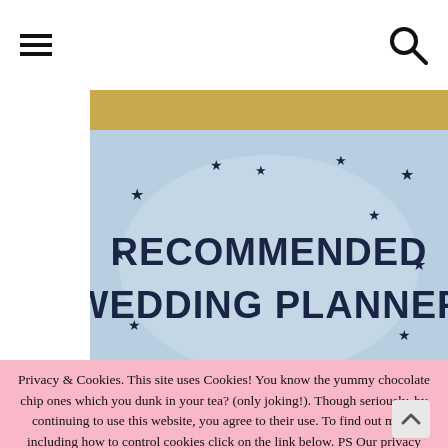[Figure (illustration): Banner image showing a recommended wedding planner design with blue/silver watercolor background, gold/brown top edge, dark star decorations around the border, and bold dark navy text reading 'RECOMMENDED WEDDING PLANNER']
Privacy & Cookies. This site uses Cookies! You know the yummy chocolate chip ones which you dunk in your tea? (only joking!). Though seriously, by continuing to use this website, you agree to their use. To find out more, including how to control cookies click on the link below. PS Our privacy policy will not help you with controlling your biscuit addiction or the most effective way to dunk your cookies!
Click To Accept And Make Me Disappear!
Click Here To Find Out More!